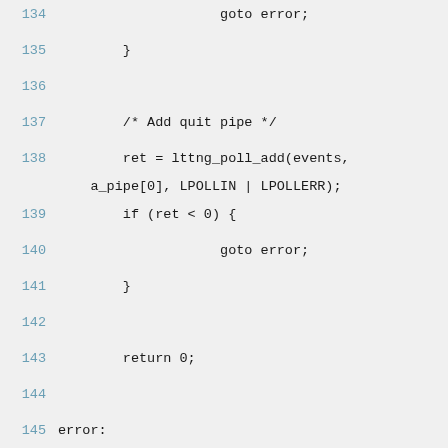134                         goto error;
135             }
136
137             /* Add quit pipe */
138             ret = lttng_poll_add(events, a_pipe[0], LPOLLIN | LPOLLERR);
139             if (ret < 0) {
140                         goto error;
141             }
142
143             return 0;
144
145 error:
146             return ret;
147 }
148